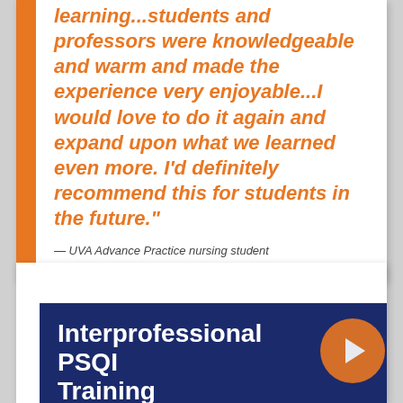learning...students and professors were knowledgeable and warm and made the experience very enjoyable...I would love to do it again and expand upon what we learned even more. I'd definitely recommend this for students in the future."
— UVA Advance Practice nursing student
Interprofessional PSQI Training